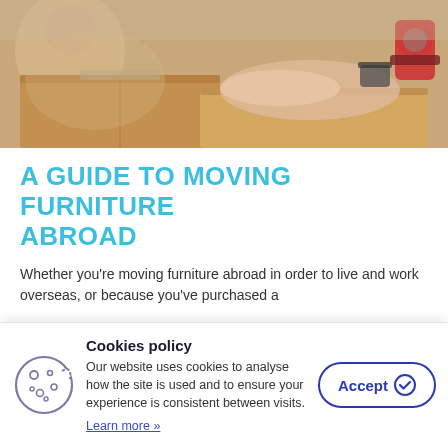[Figure (photo): A person taping a cardboard moving box with a tape dispenser, another person visible in the background, warm brown tones]
A GUIDE TO MOVING FURNITURE ABROAD
Whether you're moving furniture abroad in order to live and work overseas, or because you've purchased a
Cookies policy
Our website uses cookies to analyse how the site is used and to ensure your experience is consistent between visits.
Learn more »